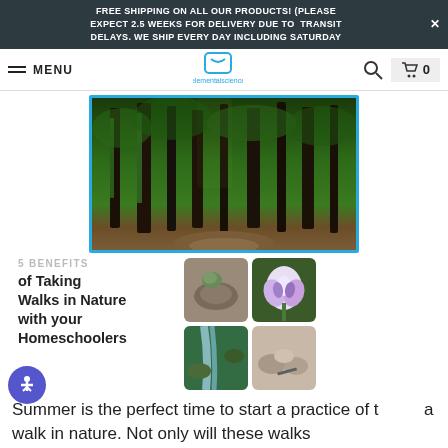FREE SHIPPING ON ALL OUR PRODUCTS! (PLEASE EXPECT 2.5 WEEKS FOR DELIVERY DUE TO TRANSIT DELAYS. WE SHIP EVERY DAY INCLUDING SATURDAY
MENU | elementalscience | 0
[Figure (photo): A lush green forest path with tall moss-covered trees and a dirt trail winding through, framed with a cyan/turquoise border]
[Figure (infographic): 5 BENEFITS of Taking Walks in Nature with your Homeschoolers — card with text on left and 2x2 grid of nature photos on right (rock with organism, iris flower, stream/waterfall, rocks/artifact)]
Summer is the perfect time to start a practice of taking a walk in nature. Not only will these walks create memories, but they will help you sneak in a bit of science! Click "Read More" to see the benefits.